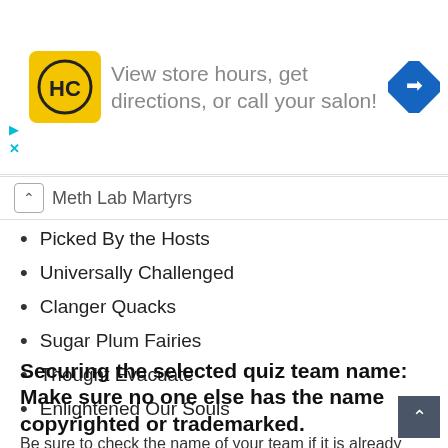[Figure (infographic): Advertisement banner for HC (Hair Club) salon: yellow square logo with HC text, ad text 'View store hours, get directions, or call your salon!', blue diamond directions icon on right, cyan play and X icons on far left]
Meth Lab Martyrs
Picked By the Hosts
Universally Challenged
Clanger Quacks
Sugar Plum Fairies
Thought Evacuate
Enlightened Our Souls
Securing the selected quiz team name: Make sure no one else has the name copyrighted or trademarked.
Be sure to check the name of your team if it is already